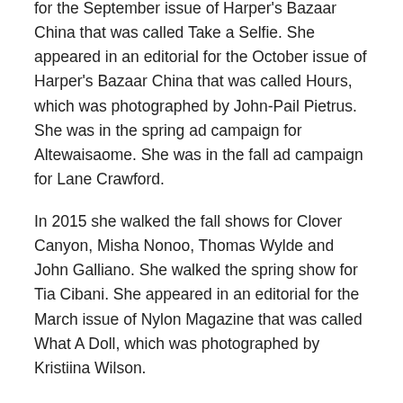for the September issue of Harper's Bazaar China that was called Take a Selfie. She appeared in an editorial for the October issue of Harper's Bazaar China that was called Hours, which was photographed by John-Pail Pietrus. She was in the spring ad campaign for Altewaisaome. She was in the fall ad campaign for Lane Crawford.
In 2015 she walked the fall shows for Clover Canyon, Misha Nonoo, Thomas Wylde and John Galliano. She walked the spring show for Tia Cibani. She appeared in an editorial for the March issue of Nylon Magazine that was called What A Doll, which was photographed by Kristiina Wilson.
Her look books include the 2014 look book for Nicole Farhi.
References